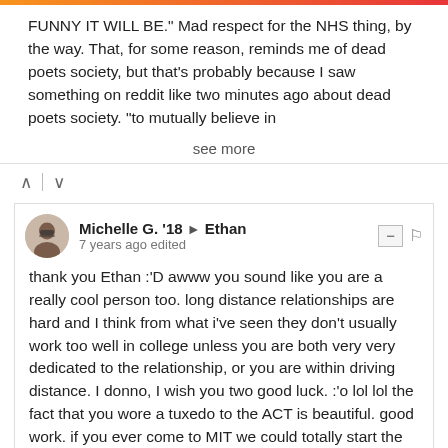FUNNY IT WILL BE." Mad respect for the NHS thing, by the way. That, for some reason, reminds me of dead poets society, but that's probably because I saw something on reddit like two minutes ago about dead poets society. "to mutually believe in
see more
^ | v
Michelle G. '18 → Ethan
7 years ago edited
thank you Ethan :'D awww you sound like you are a really cool person too. long distance relationships are hard and I think from what i've seen they don't usually work too well in college unless you are both very very dedicated to the relationship, or you are within driving distance. I donno, I wish you two good luck. :'o lol lol the fact that you wore a tuxedo to the ACT is beautiful. good work. if you ever come to MIT we could totally start the MIT Union for Students who Find it Particularly Amusing to be Dressed Inappropriately in Public Venues.
but yee, studying abroad sounds awesome, i hope to do